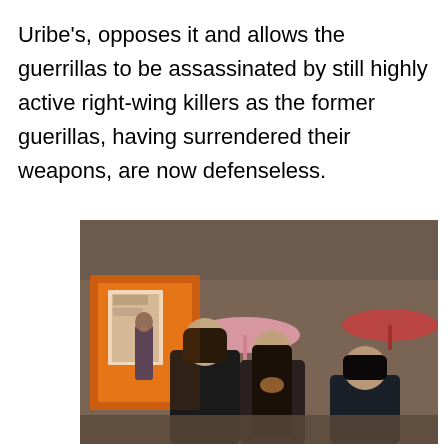Uribe's, opposes it and allows the guerrillas to be assassinated by still highly active right-wing killers as the former guerillas, having surrendered their weapons, are now defenseless.
[Figure (photo): Three women standing outdoors in what appears to be a marketplace or street scene. A woman on the left looks upward, a woman in the center with long dark hair looks forward, and a shorter woman on the right stands beside them. Background shows a pink umbrella, an orange-lit shop front, and a red umbrella.]